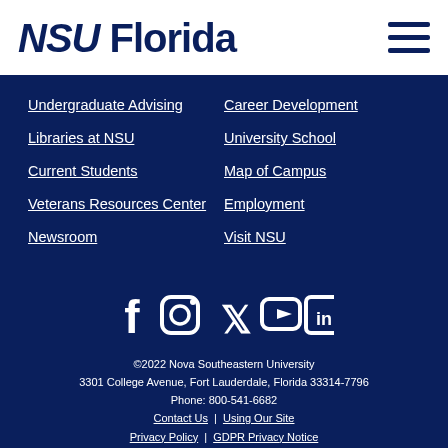NSU Florida
Undergraduate Advising
Career Development
Libraries at NSU
University School
Current Students
Map of Campus
Veterans Resources Center
Employment
Newsroom
Visit NSU
[Figure (infographic): Social media icons: Facebook, Instagram, Twitter, YouTube, LinkedIn]
©2022 Nova Southeastern University
3301 College Avenue, Fort Lauderdale, Florida 33314-7796
Phone: 800-541-6682
Contact Us | Using Our Site
Privacy Policy | GDPR Privacy Notice
ADA Policy